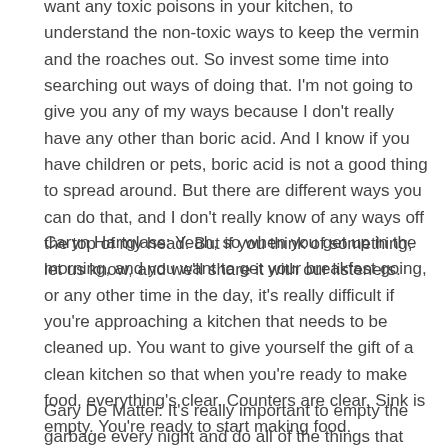want any toxic poisons in your kitchen, to understand the non-toxic ways to keep the vermin and the roaches out. So invest some time into searching out ways of doing that. I'm not going to give you any of my ways because I don't really have any other than boric acid. And I know if you have children or pets, boric acid is not a good thing to spread around. But there are different ways you can do that, and I don't really know of any ways off the top of my head. But if you think of something, let us know, and we'll share it with our listeners.
Caryn Hartglass: Yeah, so when you get up in the morning, and you want to get your breakfast going, or any other time in the day, it's really difficult if you're approaching a kitchen that needs to be cleaned up. You want to give yourself the gift of a clean kitchen so that when you're ready to make food, everything's clear. Counters are clear. Sink is empty. You're ready to start making food.
Gary De Mattei: It's really important to empty the garbage every night and do all of the things that you're taking for granted. But